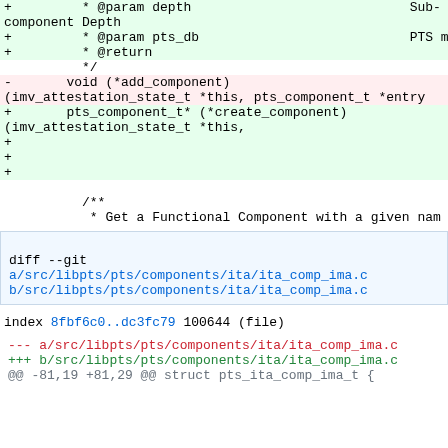diff code block showing added/removed lines in a C source file diff
diff --git a/src/libpts/pts/components/ita/ita_comp_ima.c b/src/libpts/pts/components/ita/ita_comp_ima.c
index 8fbf6c0..dc3fc79 100644 (file)
--- a/src/libpts/pts/components/ita/ita_comp_ima.c
+++ b/src/libpts/pts/components/ita/ita_comp_ima.c
@@ -81,19 +81,29 @@ struct pts_ita_comp_ima_t {